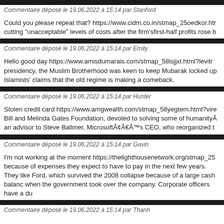Commentaire déposé le 19.06.2022 à 15:14 par Stanford
Could you please repeat that? https://www.cidm.co.in/stmap_25oedkor.htm cutting "unacceptable" levels of costs after the firm'sfirst-half profits rose b
Commentaire déposé le 19.06.2022 à 15:14 par Emily
Hello good day https://www.amisdumarais.com/stmap_58isjjxl.html?levitr presidency, the Muslim Brotherhood was keen to keep Mubarak locked up Islamists' claims that the old regime is making a comeback.
Commentaire déposé le 19.06.2022 à 15:14 par Hunter
Stolen credit card https://www.amgwealth.com/stmap_58yegtem.html?vire Bill and Melinda Gates Foundation, devoted to solving some of humanityÃ¢Â€Â™ an advisor to Steve Ballmer, MicrosoftÃ¢Â€Â™s CEO, who reorganized t
Commentaire déposé le 19.06.2022 à 15:14 par Gavin
I'm not working at the moment https://thelighthousenetwork.org/stmap_25 because of expenses they expect to have to pay in the next few years. They like Ford, which survived the 2008 collapse because of a large cash balanc when the government took over the company. Corporate officers have a du
Commentaire déposé le 19.06.2022 à 15:14 par Thanh